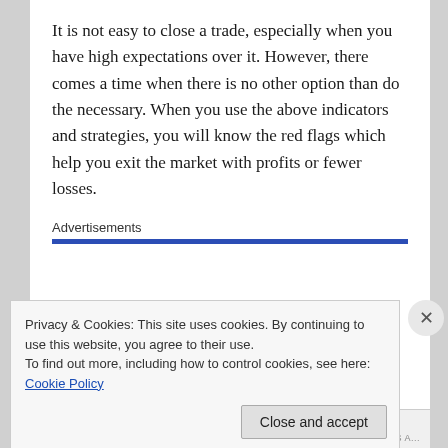It is not easy to close a trade, especially when you have high expectations over it. However, there comes a time when there is no other option than do the necessary. When you use the above indicators and strategies, you will know the red flags which help you exit the market with profits or fewer losses.
Advertisements
Privacy & Cookies: This site uses cookies. By continuing to use this website, you agree to their use.
To find out more, including how to control cookies, see here: Cookie Policy